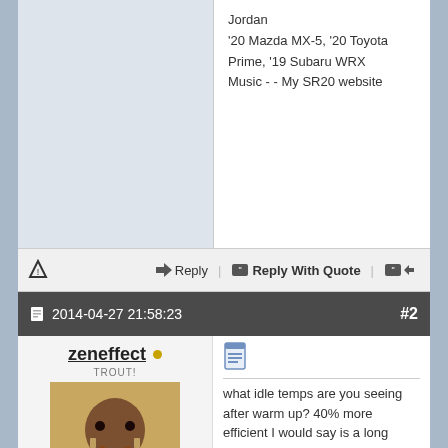Jordan
'20 Mazda MX-5, '20 Toyota Prime, '19 Subaru WRX
Music - - My SR20 website
Reply | Reply With Quote
2014-04-27 21:58:23  #2
zeneffect
TROUT!
[Figure (photo): Avatar photo of a man making a facial expression]
Join Date: 2012-12-13
Location: Carifomia
Posts: 1,261
Trader Score: 6 (100%)
what idle temps are you seeing after warm up? 40% more efficient I would say is a long shot, probably means 40% heat capacity. dual 12s should be fine on it.

to really see if the claims of 40% are true you would have to measure the inlet and outlet temps of oem and aftermarket, then compare the delta between the 2